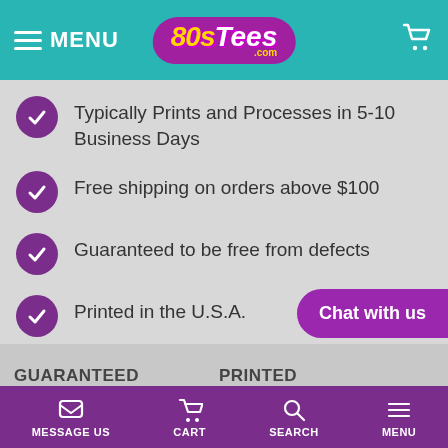MENU | 80sTees.com | Cart
Typically Prints and Processes in 5-10 Business Days
Free shipping on orders above $100
Guaranteed to be free from defects
Printed in the U.S.A.
No questions asked return policy
Chat with us
GUARANTEED    PRINTED
MESSAGE US   CART   SEARCH   MENU